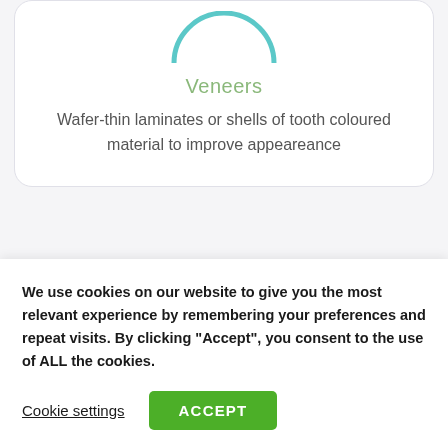[Figure (illustration): Partial teal circle arc icon for Veneers (top cropped)]
Veneers
Wafer-thin laminates or shells of tooth coloured material to improve appeareance
[Figure (illustration): Teal circle icon with teeth/dental braces illustration inside, partially visible]
We use cookies on our website to give you the most relevant experience by remembering your preferences and repeat visits. By clicking "Accept", you consent to the use of ALL the cookies.
Cookie settings
ACCEPT